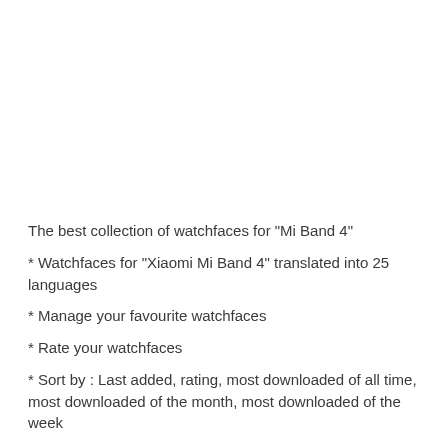The best collection of watchfaces for "Mi Band 4"
* Watchfaces for "Xiaomi Mi Band 4" translated into 25 languages
* Manage your favourite watchfaces
* Rate your watchfaces
* Sort by : Last added, rating, most downloaded of all time, most downloaded of the month, most downloaded of the week
* Powerful filter function to find your watchface